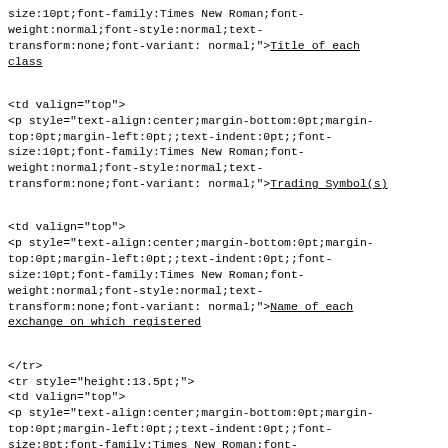size:10pt;font-family:Times New Roman;font-weight:normal;font-style:normal;text-transform:none;font-variant: normal;"><span style="text-decoration:underline;">Title of each class</span></p></td>
<td valign="top">
<p style="text-align:center;margin-bottom:0pt;margin-top:0pt;margin-left:0pt;;text-indent:0pt;;font-size:10pt;font-family:Times New Roman;font-weight:normal;font-style:normal;text-transform:none;font-variant: normal;"><span style="text-decoration:underline;">Trading Symbol(s)
</span></p></td>
<td valign="top">
<p style="text-align:center;margin-bottom:0pt;margin-top:0pt;margin-left:0pt;;text-indent:0pt;;font-size:10pt;font-family:Times New Roman;font-weight:normal;font-style:normal;text-transform:none;font-variant: normal;"><span style="text-decoration:underline;">Name of each exchange on which registered</span></p></td>
</tr>
<tr style="height:13.5pt;">
<td valign="top">
<p style="text-align:center;margin-bottom:0pt;margin-top:0pt;margin-left:0pt;;text-indent:0pt;;font-size:8pt;font-family:Times New Roman;font-weight:normal;font-style:normal;text-transform:none;font-variant: normal;"><ix:nonNumeric id="F_000038" name="dei:Security12bTitle"